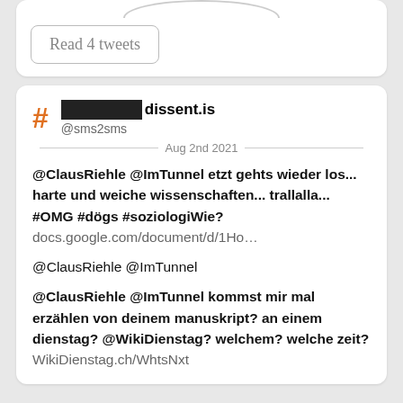Read 4 tweets
█████████dissent.is @sms2sms
Aug 2nd 2021
@ClausRiehle @ImTunnel etzt gehts wieder los... harte und weiche wissenschaften... trallalla... #OMG #dögs #soziologiWie? docs.google.com/document/d/1Ho…
@ClausRiehle @ImTunnel
@ClausRiehle @ImTunnel kommst mir mal erzählen von deinem manuskript? an einem dienstag? @WikiDienstag? welchem? welche zeit? WikiDienstag.ch/WhtsNxt